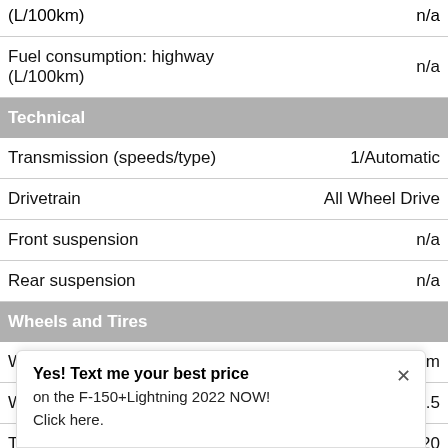| Specification | Value |
| --- | --- |
| Fuel consumption: highway (L/100km) | n/a |
| Technical |  |
| Transmission (speeds/type) | 1/Automatic |
| Drivetrain | All Wheel Drive |
| Front suspension | n/a |
| Rear suspension | n/a |
| Wheels and Tires |  |
| Wheels | Aluminum |
| Wh... (inches) | 20 X 8.5 |
| Ti... | P275/60SR20 |
| Security |  |
[Figure (other): Blue 'VALUE YOUR TRADE!' button overlay with circular arrow icon]
Yes! Text me your best price on the F-150+Lightning 2022 NOW! Click here.